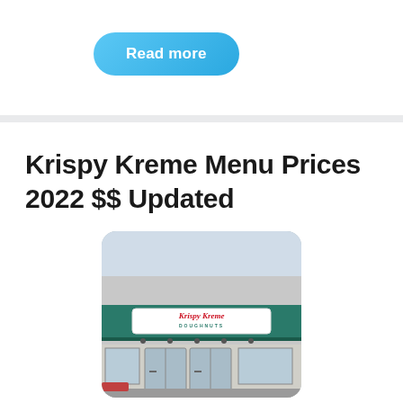[Figure (other): Blue 'Read more' pill-shaped button with white bold text]
Krispy Kreme Menu Prices 2022 $$ Updated
[Figure (photo): Photograph of a Krispy Kreme Doughnuts store exterior showing the signage with teal awning and glass doors]